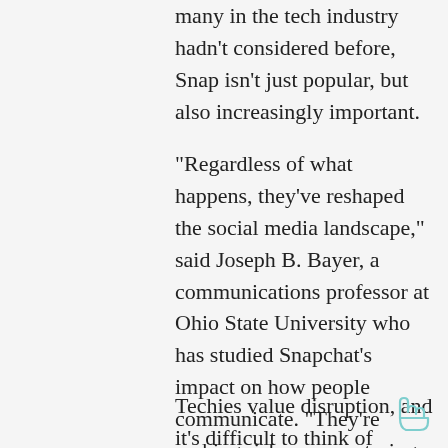many in the tech industry hadn't considered before, Snap isn't just popular, but also increasingly important.
“Regardless of what happens, they’ve reshaped the social media landscape,” said Joseph B. Bayer, a communications professor at Ohio State University who has studied Snapchat’s impact on how people communicate. “They’re making risky moves, trying to rethink what people want online as opposed to taking what’s already been done and adding a new flash.”
Techies value disruption, and it’s difficult to think of another online